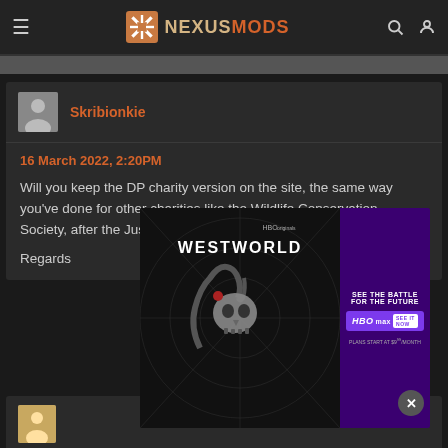NEXUSMODS
Skribionkie
16 March 2022, 2:20PM
Will you keep the DP charity version on the site, the same way you've done for other charities like the Wildlife Conservation Society, after the Just Giving donation drive is closed?
Regards
[Figure (screenshot): Westworld HBO Max advertisement overlay showing a robotic skull with a mechanical hand, with purple panel on the right showing 'SEE THE BATTLE FOR THE FUTURE HBOMAX' text and a close button]